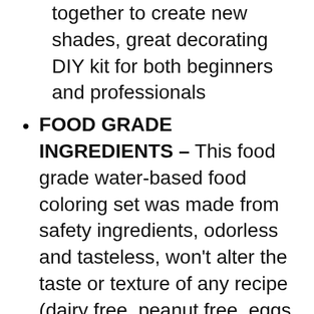together to create new shades, great decorating DIY kit for both beginners and professionals
FOOD GRADE INGREDIENTS – This food grade water-based food coloring set was made from safety ingredients, odorless and tasteless, won't alter the taste or texture of any recipe (dairy free, peanut free, eggs free, nut free & gluten free)
Additional Info: